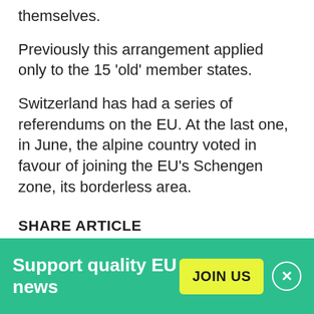themselves.
Previously this arrangement applied only to the 15 'old' member states.
Switzerland has had a series of referendums on the EU. At the last one, in June, the alpine country voted in favour of joining the EU's Schengen zone, its borderless area.
SHARE ARTICLE
[Figure (infographic): Share article buttons row 1: Twitter (blue), Facebook (dark blue), LinkedIn (blue), Reddit (orange)]
[Figure (infographic): Share article buttons row 2: WhatsApp (green), Mail (dark gray)]
Support quality EU news
JOIN US